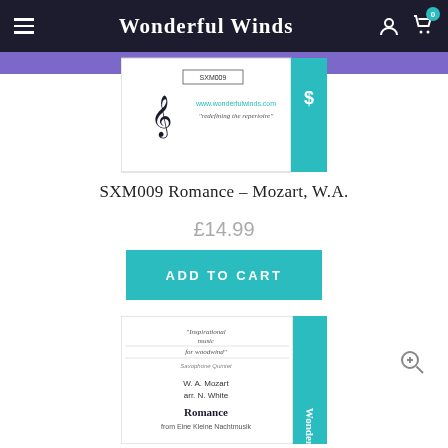Wonderful Winds
[Figure (illustration): Product thumbnail showing Wonderful Winds sheet music cover with SXM009 label, treble clef, and teal accent block]
SXM009 Romance – Mozart, W.A.
£14.99
ADD TO CART
[Figure (photo): Sheet music preview showing 'Inspirational music for woodwind', Saxophone Quintet, W.A. Mozart arr. N. White, Romance from Eine Kleine Nachtmusik, with Wonderful Winds vertical text on teal spine]